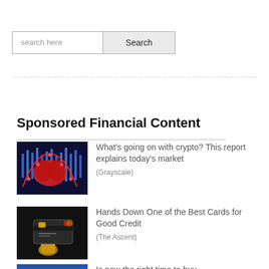[Figure (screenshot): Search input box with placeholder text 'search here' and a Search button]
Sponsored Financial Content
[Figure (photo): Dark background with a red brain/blob shape and blue candlestick chart — crypto market illustration]
What’s going on with crypto? This report explains today’s market
(Grayscale)
[Figure (photo): Dark background showing a gold hand holding a credit card]
Hands Down One of the Best Cards for Good Credit
(The Ascent)
Is now the right time to buy